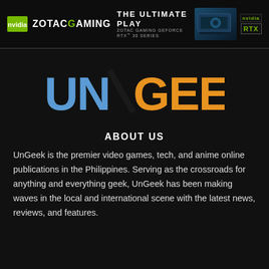[Figure (illustration): ZOTAC Gaming advertisement banner with Nvidia logo, ZOTAC GAMING text, THE ULTIMATE PLAY heading, ZOTAC GAMING GEFORCE RTX 30 SERIES subtitle, GPU image, and RTX badge on dark background]
[Figure (logo): UnGeek logo with UN in blue and GEEK in orange on dark background]
ABOUT US
UnGeek is the premier video games, tech, and anime online publications in the Philippines. Serving as the crossroads for anything and everything geek, UnGeek has been making waves in the local and international scene with the latest news, reviews, and features.